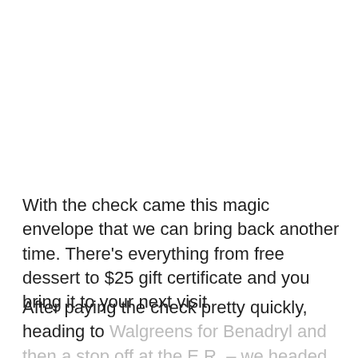With the check came this magic envelope that we can bring back another time. There’s everything from free dessert to $25 gift certificate and you bring it to your next visit.
After paying the check pretty quickly, heading to Walgreens for Benadryl and then a stop off at the E.R. – we headed home. Whew! The moral of the